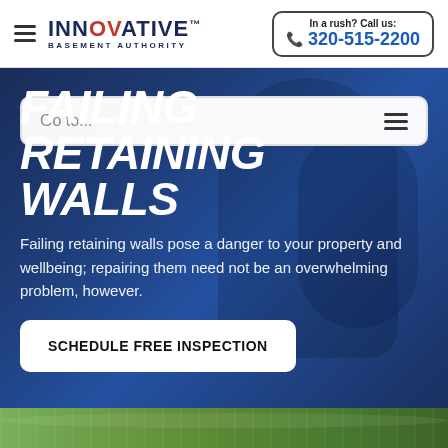INNOVATIVE BASEMENT AUTHORITY — In a rush? Call us: 320-515-2200
[Figure (screenshot): Navigation bar with Go to... dropdown selector and hamburger menu icon on a blue hero background]
FAILING RETAINING WALLS
Failing retaining walls pose a danger to your property and wellbeing; repairing them need not be an overwhelming problem, however.
SCHEDULE FREE INSPECTION
[Figure (photo): Green outdoor landscape photo strip at bottom of page]